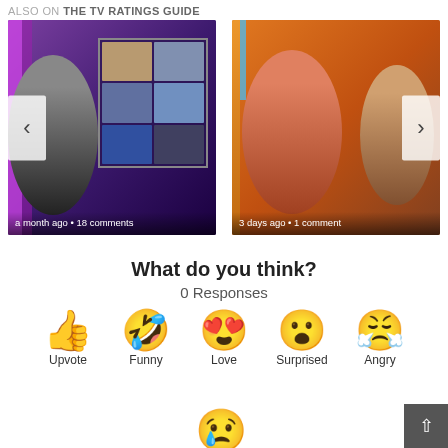ALSO ON THE TV RATINGS GUIDE
[Figure (photo): Carousel of two TV show thumbnails. Left card shows a woman in front of a purple background with a grid of performers, caption: 'a month ago • 18 comments'. Right card shows a cooking competition contestant in a pink apron, caption: '3 days ago • 1 comment'. Left and right navigation arrows visible.]
What do you think?
0 Responses
[Figure (infographic): Row of reaction emoji options: thumbs up (Upvote), laughing face with tongue out (Funny), heart eyes face (Love), surprised face (Surprised), angry/sleeping face (Angry). Below, a crying face emoji is partially visible.]
Upvote
Funny
Love
Surprised
Angry